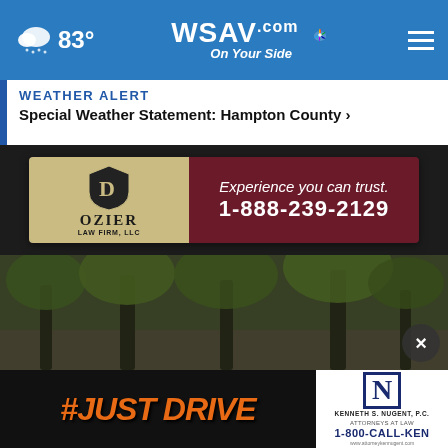83° WSAV.com On Your Side
WEATHER ALERT
Special Weather Statement: Hampton County ›
[Figure (screenshot): Dozier Law Firm, LLC advertisement banner. Left side: beige/tan background with shield logo and 'DOZIER LAW FIRM, LLC' text. Right side: dark maroon background with white text 'Experience you can trust. 1-888-239-2129'.]
[Figure (photo): Blurry outdoor photo showing trees and a park-like setting with dark background.]
[Figure (screenshot): Two advertisements side by side: '#JUST DRIVE' campaign on black background with orange text, and Kenneth S. Nugent, P.C. Attorneys At Law '1-800-CALL-KEN' advertisement on white background.]